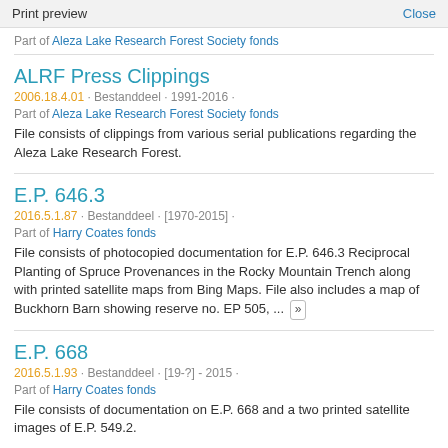Print preview   Close
Part of Aleza Lake Research Forest Society fonds
ALRF Press Clippings
2006.18.4.01 · Bestanddeel · 1991-2016 ·
Part of Aleza Lake Research Forest Society fonds
File consists of clippings from various serial publications regarding the Aleza Lake Research Forest.
E.P. 646.3
2016.5.1.87 · Bestanddeel · [1970-2015] ·
Part of Harry Coates fonds
File consists of photocopied documentation for E.P. 646.3 Reciprocal Planting of Spruce Provenances in the Rocky Mountain Trench along with printed satellite maps from Bing Maps. File also includes a map of Buckhorn Barn showing reserve no. EP 505, ... »
E.P. 668
2016.5.1.93 · Bestanddeel · [19-?] - 2015 ·
Part of Harry Coates fonds
File consists of documentation on E.P. 668 and a two printed satellite images of E.P. 549.2.